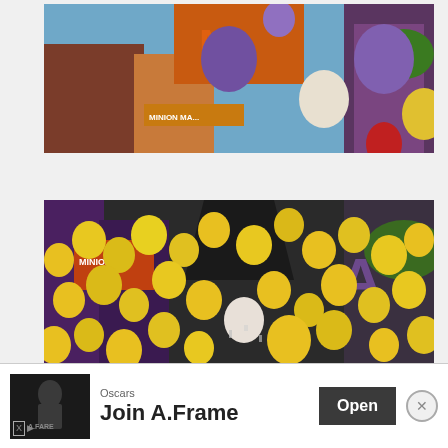[Figure (photo): A theme park ride or attraction entrance for 'Minion Mayhem' with colorful balloons (purple, white, cream, red) floating in the air against a backdrop of themed buildings and a blue sky.]
[Figure (photo): A large crowd of people wearing yellow hard hats at a theme park grand opening event with hundreds of yellow balloons and confetti released into the air in front of themed dark buildings.]
[Figure (other): Advertisement banner at the bottom of the page. Shows a movie-related image on the left, text 'Oscars' and 'Join A.Frame' in the middle, and an 'Open' button on the right. Has AdChoices icons and a close (X) button.]